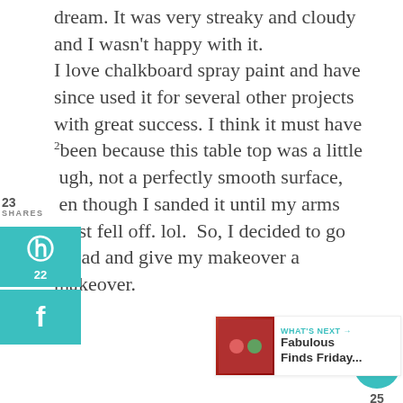dream. It was very streaky and cloudy and I wasn't happy with it. I love chalkboard spray paint and have since used it for several other projects with great success. I think it must have been because this table top was a little rough, not a perfectly smooth surface, even though I sanded it until my arms almost fell off. lol. So, I decided to go ahead and give my makeover a makeover.
[Figure (infographic): Social share sidebar with Pinterest (22 shares) and Facebook buttons in teal color]
[Figure (infographic): Right-side widget with heart/like count of 25 and share button]
[Figure (infographic): What's Next promotional box with image and text: Fabulous Finds Friday...]